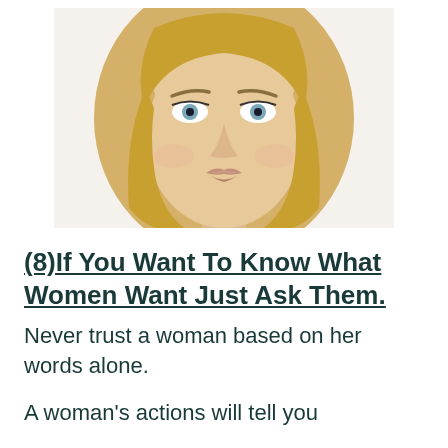[Figure (photo): Close-up portrait of a young blonde woman with blue eyes, looking upward, against a white background.]
(8)If You Want To Know What Women Want Just Ask Them.
Never trust a woman based on her words alone.
A woman's actions will tell you